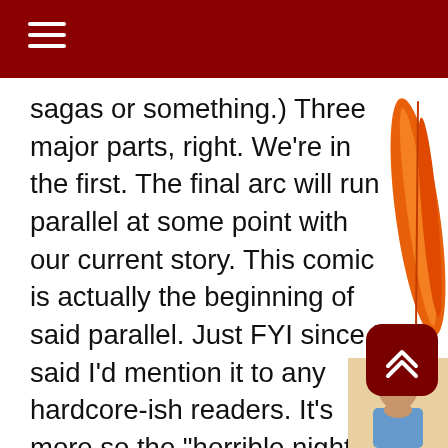sagas or something.) Three major parts, right. We're in the first. The final arc will run parallel at some point with our current story. This comic is actually the beginning of said parallel. Just FYI since I said I'd mention it to any hardcore-ish readers. It's more so the "horrible night" Tommy is alluding to that's the start. But we won't hear much of this for a long time. The only thing we'll see for the time being is the repercussions of this night in the next few strips. I hate sounding mysterious about everything all the time. I know that gets old. But I can't give it away..
[Figure (illustration): Orange feather or decorative element on the right side]
[Figure (illustration): Teal/green decorative element on the right side]
[Figure (illustration): Text logo or title image in bottom right area]
[Figure (illustration): Scroll-to-top button with chevron arrows]
[Figure (illustration): Character illustration in the bottom right corner]